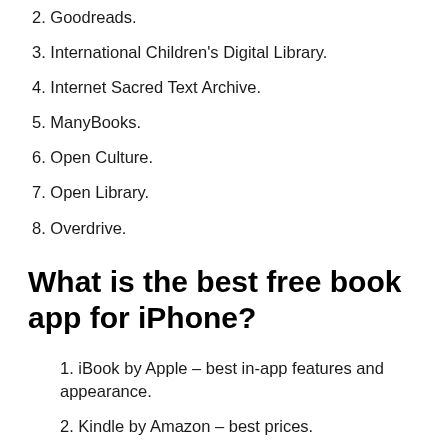2. Goodreads.
3. International Children's Digital Library.
4. Internet Sacred Text Archive.
5. ManyBooks.
6. Open Culture.
7. Open Library.
8. Overdrive.
What is the best free book app for iPhone?
1. iBook by Apple – best in-app features and appearance.
2. Kindle by Amazon – best prices.
3. Kobo by Rakuten (previously by Indigo Books and Music) – best loyalty incentives.